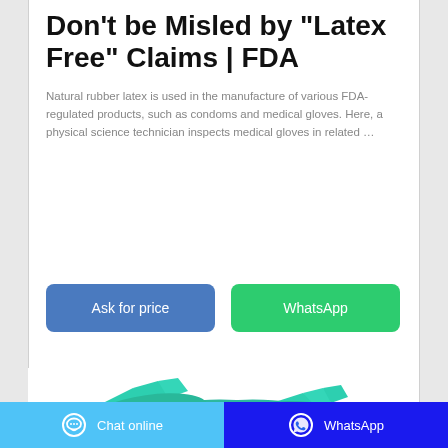Don't be Misled by "Latex Free" Claims | FDA
Natural rubber latex is used in the manufacture of various FDA-regulated products, such as condoms and medical gloves. Here, a physical science technician inspects medical gloves in related …
[Figure (other): Two buttons: 'Ask for price' (blue-grey) and 'WhatsApp' (green)]
[Figure (photo): Teal/turquoise medical examination gloves laid flat]
Chat online   WhatsApp